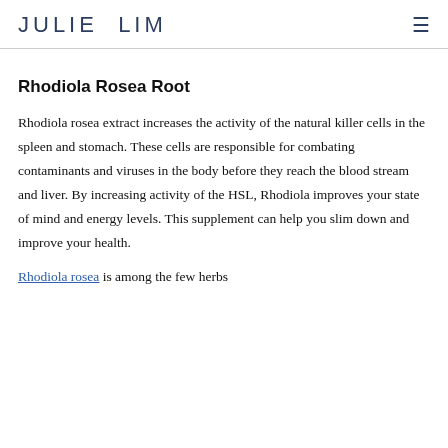JULIE LIM
Rhodiola Rosea Root
Rhodiola rosea extract increases the activity of the natural killer cells in the spleen and stomach. These cells are responsible for combating contaminants and viruses in the body before they reach the blood stream and liver. By increasing activity of the HSL, Rhodiola improves your state of mind and energy levels. This supplement can help you slim down and improve your health.
Rhodiola rosea is among the few herbs